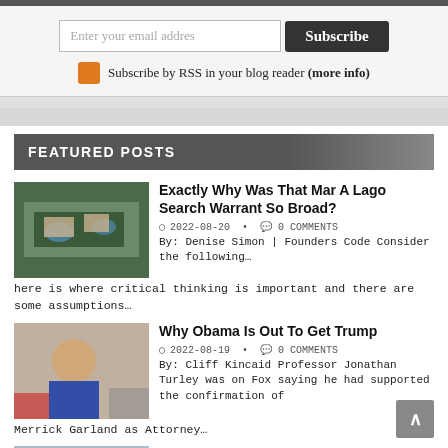[Figure (screenshot): Top dark bar/navigation strip]
Enter your email addres
Subscribe
Subscribe by RSS in your blog reader (more info)
FEATURED POSTS
[Figure (photo): Aerial view of Mar-A-Lago estate]
Exactly Why Was That Mar A Lago Search Warrant So Broad?
2022-08-20  •  0 COMMENTS
By: Denise Simon | Founders Code Consider the following… here is where critical thinking is important and there are some assumptions…
[Figure (photo): Photo of Barack Obama speaking at a podium]
Why Obama Is Out To Get Trump
2022-08-19  •  0 COMMENTS
By: Cliff Kincaid Professor Jonathan Turley was on Fox saying he had supported the confirmation of Merrick Garland as Attorney…
[Figure (photo): Crowd at Afghanistan airport]
The Fall Of Afghanistan Report, One Year Later